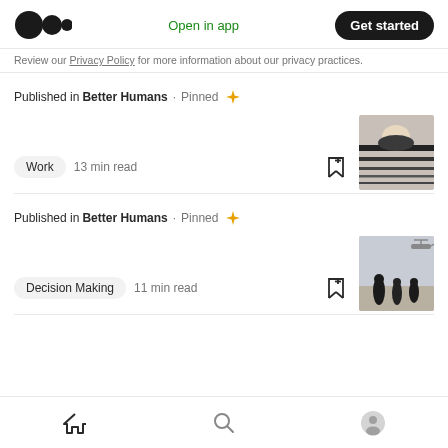Medium logo | Open in app | Get started
Review our Privacy Policy for more information about our privacy practices.
Published in Better Humans · Pinned ✦
Work  13 min read
Published in Better Humans · Pinned ✦
Decision Making  11 min read
Home | Search | Profile